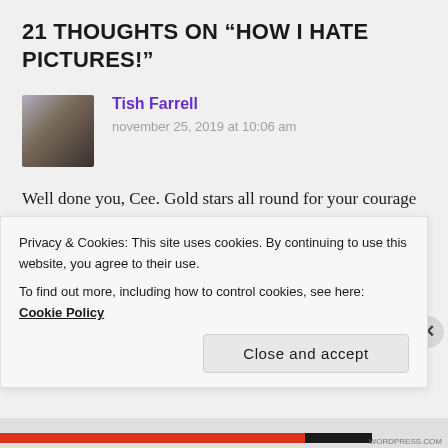21 THOUGHTS ON “HOW I HATE PICTURES!”
Tish Farrell
november 25, 2019 at 10:06 am
Well done you, Cee. Gold stars all round for your courage and determination, and to Chris for her loving support.
Privacy & Cookies: This site uses cookies. By continuing to use this website, you agree to their use.
To find out more, including how to control cookies, see here: Cookie Policy
Close and accept